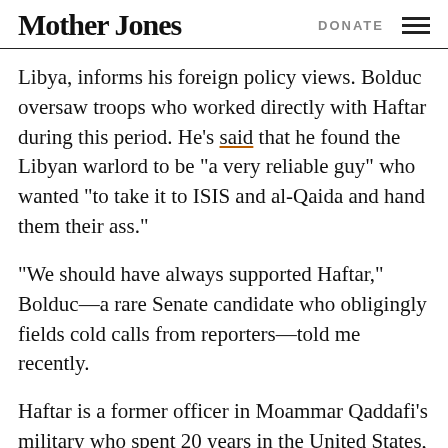Mother Jones | DONATE
Libya, informs his foreign policy views. Bolduc oversaw troops who worked directly with Haftar during this period. He's said that he found the Libyan warlord to be “a very reliable guy” who wanted “to take it to ISIS and al-Qaida and hand them their ass.”
“We should have always supported Haftar,” Bolduc—a rare Senate candidate who obligingly fields cold calls from reporters—told me recently.
Haftar is a former officer in Moammar Qaddafi’s military who spent 20 years in the United States, during which time he established a relationship with the CIA. He returned to Libya in 2011 after